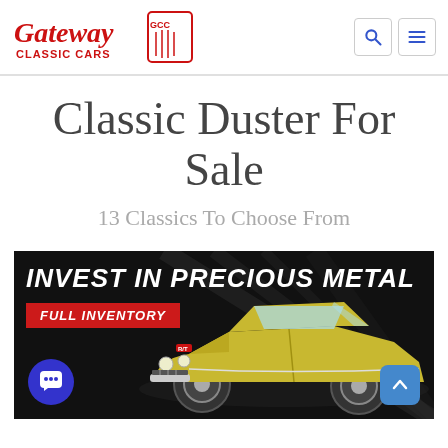Gateway Classic Cars
Classic Duster For Sale
13 Classics To Choose From
[Figure (illustration): Gateway Classic Cars advertisement banner with dark background, text 'INVEST IN PRECIOUS METAL' in bold white italic, red badge 'FULL INVENTORY', and a yellow classic car (Plymouth Road Runner) on the right side.]